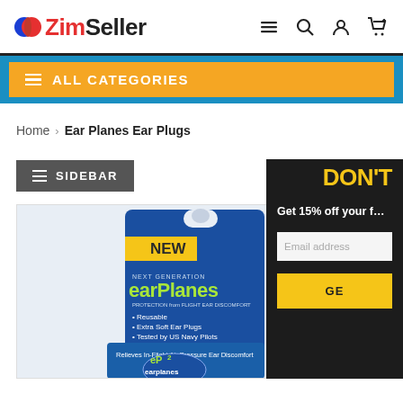ZimSeller
ALL CATEGORIES
Home > Ear Planes Ear Plugs
SIDEBAR
[Figure (photo): EarPlanes ear plugs product packaging — blue retail card with yellow NEW badge, showing earPlanes brand name and eP2 blue ear plug case]
DON'T
Get 15% off your f
Email address
GE